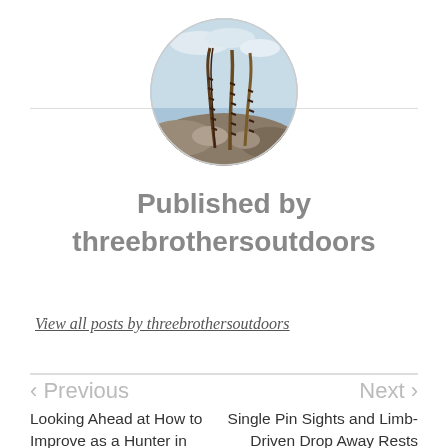[Figure (photo): Circular avatar image showing pheasant feathers on rocks with a sky background]
Published by threebrothersoutdoors
View all posts by threebrothersoutdoors
< Previous
Looking Ahead at How to Improve as a Hunter in 2018
Next >
Single Pin Sights and Limb-Driven Drop Away Rests